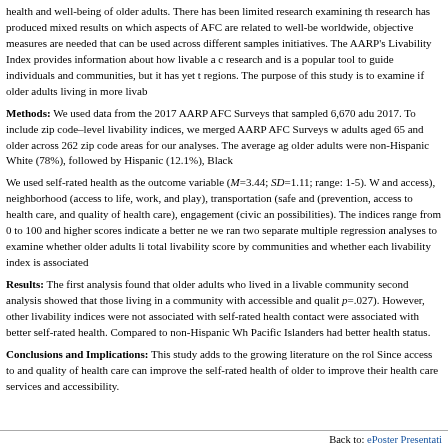health and well-being of older adults. There has been limited research examining the research has produced mixed results on which aspects of AFC are related to well-being worldwide, objective measures are needed that can be used across different samples and initiatives. The AARP's Livability Index provides information about how livable a community research and is a popular tool to guide individuals and communities, but it has yet to be regions. The purpose of this study is to examine if older adults living in more livable
Methods: We used data from the 2017 AARP AFC Surveys that sampled 6,670 adults in 2017. To include zip code–level livability indices, we merged AARP AFC Surveys with adults aged 65 and older across 262 zip code areas for our analyses. The average age older adults were non-Hispanic White (78%), followed by Hispanic (12.1%), Black
We used self-rated health as the outcome variable (M=3.44; SD=1.11; range: 1-5). We and access), neighborhood (access to life, work, and play), transportation (safe and (prevention, access to health care, and quality of health care), engagement (civic and possibilities). The indices range from 0 to 100 and higher scores indicate a better neighborhood we ran two separate multiple regression analyses to examine whether older adults living in total livability score by communities and whether each livability index is associated
Results: The first analysis found that older adults who lived in a livable community second analysis showed that those living in a community with accessible and quality p=.027). However, other livability indices were not associated with self-rated health contact were associated with better self-rated health. Compared to non-Hispanic White Pacific Islanders had better health status.
Conclusions and Implications: This study adds to the growing literature on the role Since access to and quality of health care can improve the self-rated health of older to improve their health care services and accessibility.
Back to: ePoster Presentations